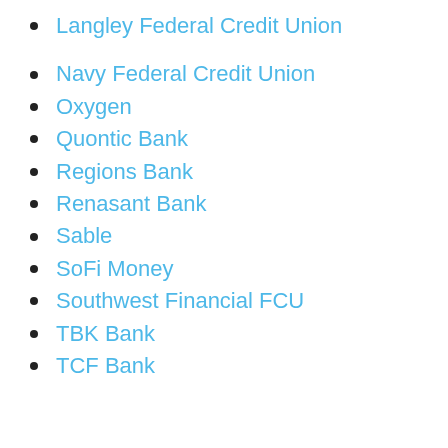Langley Federal Credit Union
Navy Federal Credit Union
Oxygen
Quontic Bank
Regions Bank
Renasant Bank
Sable
SoFi Money
Southwest Financial FCU
TBK Bank
TCF Bank